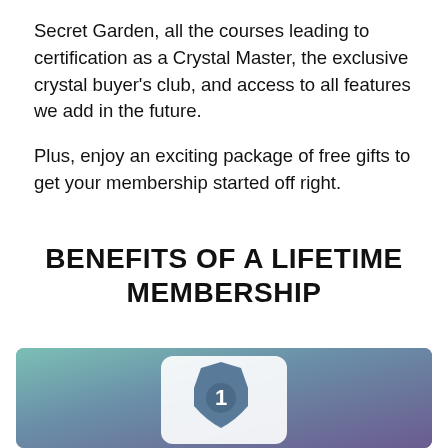Secret Garden, all the courses leading to certification as a Crystal Master, the exclusive crystal buyer's club, and access to all features we add in the future.
Plus, enjoy an exciting package of free gifts to get your membership started off right.
BENEFITS OF A LIFETIME MEMBERSHIP
[Figure (illustration): A gradient banner image transitioning from teal/green on the left to purple on the right, featuring a white-outlined badge or shield with the number 1 in the center.]